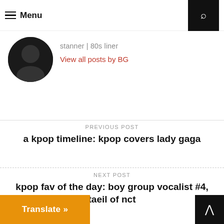Menu
stanner | 80s liner
View all posts by BG
PREVIOUS POST
a kpop timeline: kpop covers lady gaga
NEXT POST
kpop fav of the day: boy group vocalist #4, taeil of nct
Translate »